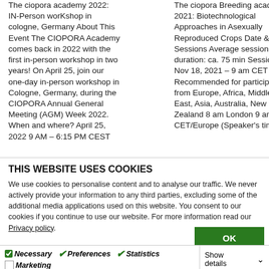The ciopora academy 2022: IN-Person worKshop in cologne, Germany About This Event The CIOPORA Academy comes back in 2022 with the first in-person workshop in two years! On April 25, join our one-day in-person workshop in Cologne, Germany, during the CIOPORA Annual General Meeting (AGM) Week 2022. When and where? April 25, 2022 9 AM – 6:15 PM CEST
The ciopora Breeding academY 2021: Biotechnological Approaches in Asexually Reproduced Crops Date & Sessions Average session duration: ca. 75 min Session 1: Nov 18, 2021 – 9 am CET Recommended for participants from Europe, Africa, Middle-East, Asia, Australia, New Zealand 8 am London 9 am CET/Europe (Speaker's time
THIS WEBSITE USES COOKIES
We use cookies to personalise content and to analyse our traffic. We never actively provide your information to any third parties, excluding some of the additional media applications used on this website. You consent to our cookies if you continue to use our website. For more information read our Privacy policy.